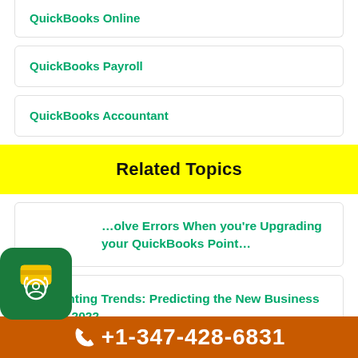QuickBooks Online
QuickBooks Payroll
QuickBooks Accountant
Related Topics
[Figure (illustration): Green circular badge icon with a person surrounded by arrows and a card/credit card icon]
…olve Errors When you're Upgrading your QuickBooks Point…
Accounting Trends: Predicting the New Business Future 2022
+1-347-428-6831